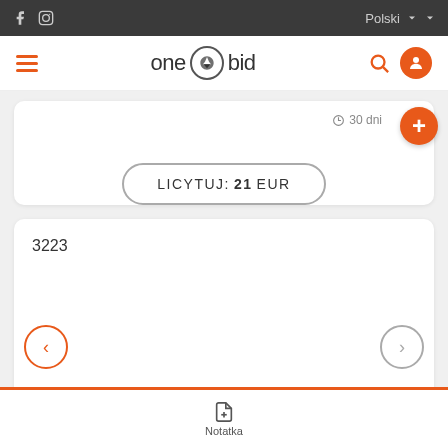f  [instagram icon]  Polski ˅  ˅
one [gavel icon] bid
30 dni
LICYTUJ: 21 EUR
3223
Notatka